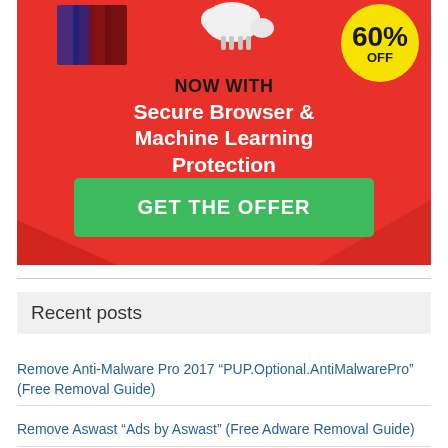[Figure (infographic): Red advertisement banner for antivirus/security software. Shows product boxes and a white sheep, a yellow circle badge with '60% OFF', text 'NOW WITH Secure Browser & Machine Learning Protection', and a green button 'GET THE OFFER'.]
Recent posts
Remove Anti-Malware Pro 2017 “PUP.Optional.AntiMalwarePro” (Free Removal Guide)
Remove Aswast “Ads by Aswast” (Free Adware Removal Guide)